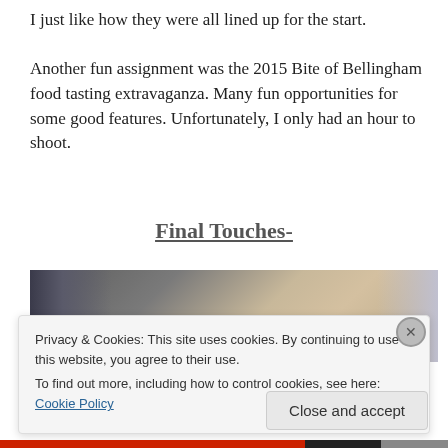I just like how they were all lined up for the start.

Another fun assignment was the 2015 Bite of Bellingham food tasting extravaganza. Many fun opportunities for some good features. Unfortunately, I only had an hour to shoot.
Final Touches-
[Figure (photo): A photograph showing people at an outdoor event, partially cropped, with dark structural elements on the left and a blond person visible on the right.]
Privacy & Cookies: This site uses cookies. By continuing to use this website, you agree to their use.
To find out more, including how to control cookies, see here: Cookie Policy
Close and accept